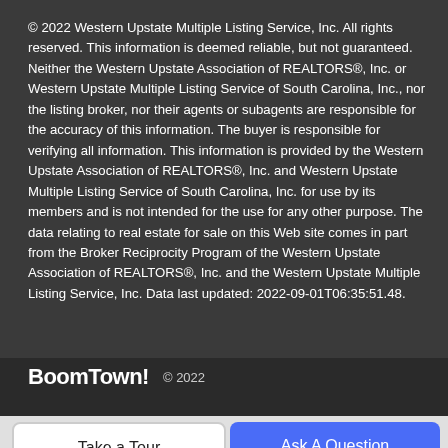© 2022 Western Upstate Multiple Listing Service, Inc. All rights reserved. This information is deemed reliable, but not guaranteed. Neither the Western Upstate Association of REALTORS®, Inc. or Western Upstate Multiple Listing Service of South Carolina, Inc., nor the listing broker, nor their agents or subagents are responsible for the accuracy of this information. The buyer is responsible for verifying all information. This information is provided by the Western Upstate Association of REALTORS®, Inc. and Western Upstate Multiple Listing Service of South Carolina, Inc. for use by its members and is not intended for the use for any other purpose. The data relating to real estate for sale on this Web site comes in part from the Broker Reciprocity Program of the Western Upstate Association of REALTORS®, Inc. and the Western Upstate Multiple Listing Service, Inc. Data last updated: 2022-09-01T06:35:51.48.
BoomTown! © 2022
Take a Tour
Ask A Question